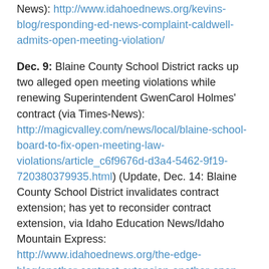News): http://www.idahoednews.org/kevins-blog/responding-ed-news-complaint-caldwell-admits-open-meeting-violation/
Dec. 9: Blaine County School District racks up two alleged open meeting violations while renewing Superintendent GwenCarol Holmes' contract (via Times-News): http://magicvalley.com/news/local/blaine-school-board-to-fix-open-meeting-law-violations/article_c6f9676d-d3a4-5462-9f19-720380379935.html) (Update, Dec. 14: Blaine County School District invalidates contract extension; has yet to reconsider contract extension, via Idaho Education News/Idaho Mountain Express: http://www.idahoednews.org/the-edge-blog/another-contract-extension-another-open-meetings-dispute/#.Vm8b9UqDFBd)
Nov. 9: In the remaining West Ada...